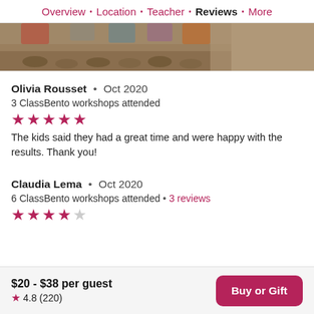Overview · Location · Teacher · Reviews · More
[Figure (photo): Photo strip showing feet/sandals of a group of people standing together on dirt ground]
Olivia Rousset • Oct 2020
3 ClassBento workshops attended
★★★★★ (5 stars)
The kids said they had a great time and were happy with the results. Thank you!
Claudia Lema • Oct 2020
6 ClassBento workshops attended • 3 reviews
★★★★☆ (4 stars)
$20 - $38 per guest  ★ 4.8 (220)  Buy or Gift